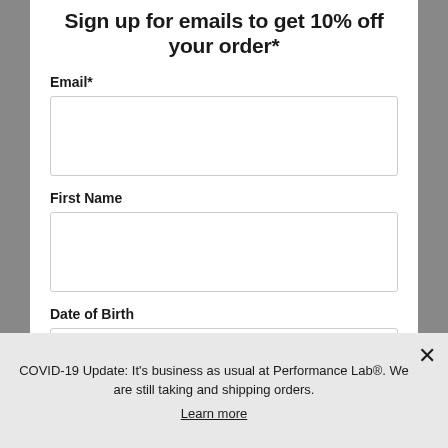Sign up for emails to get 10% off your order*
Email*
First Name
Date of Birth
MM/DD/YYYY
Subscribe
COVID-19 Update: It's business as usual at Performance Lab®. We are still taking and shipping orders.
Learn more